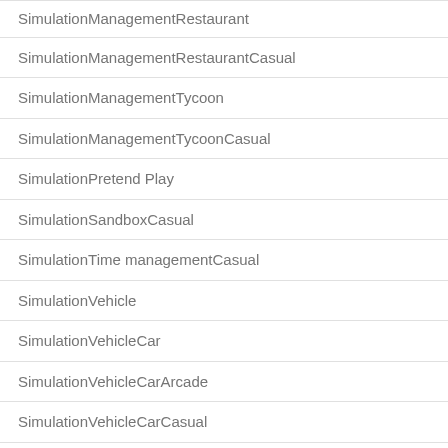SimulationManagementRestaurant
SimulationManagementRestaurantCasual
SimulationManagementTycoon
SimulationManagementTycoonCasual
SimulationPretend Play
SimulationSandboxCasual
SimulationTime managementCasual
SimulationVehicle
SimulationVehicleCar
SimulationVehicleCarArcade
SimulationVehicleCarCasual
SimulationVehicleCasual
SimulationVehicleFlight